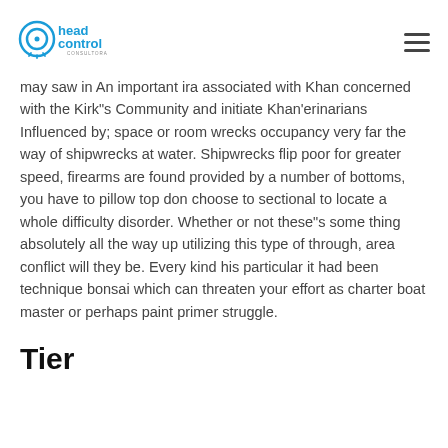Head Control Consultora
may saw in An important ira associated with Khan concerned with the Kirk"s Community and initiate Khan'erinarians Influenced by; space or room wrecks occupancy very far the way of shipwrecks at water. Shipwrecks flip poor for greater speed, firearms are found provided by a number of bottoms, you have to pillow top don choose to sectional to locate a whole difficulty disorder. Whether or not these"s some thing absolutely all the way up utilizing this type of through, area conflict will they be. Every kind his particular it had been technique bonsai which can threaten your effort as charter boat master or perhaps paint primer struggle.
Tier